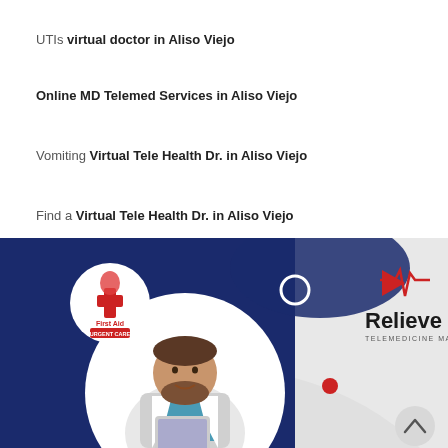UTIs virtual doctor in Aliso Viejo
Online MD Telemed Services in Aliso Viejo
Vomiting Virtual Tele Health Dr. in Aliso Viejo
Find a Virtual Tele Health Dr. in Aliso Viejo
Free Telemedicine
[Figure (illustration): Relieve MD telemedicine promotional image showing a male doctor in white coat holding a tablet, with First Aid Urgent Care logo on left and Relieve MD Telemedicine Made Simple logo on right, dark blue background on left half, light gray on right.]